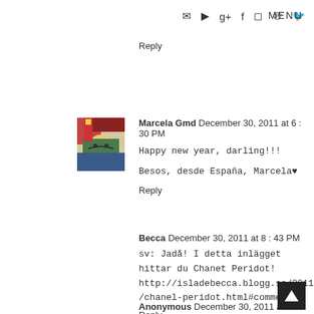MENU
Reply
Marcela Gmd December 30, 2011 at 6:30 PM
Happy new year, darling!!!

Besos, desde España, Marcela♥
Reply
Becca December 30, 2011 at 8:43 PM
sv: Jadå! I detta inlägget hittar du Chanet Peridot! http://isladebecca.blogg.se/2011/december/chanel-peridot.html#comment
Reply
Anonymous December 30, 2011 at 9:40 PM